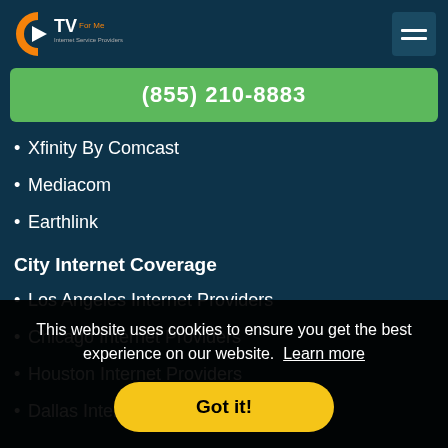CTV For Me — Internet Service Providers
(855) 210-8883
Xfinity By Comcast
Mediacom
Earthlink
City Internet Coverage
Los Angeles Internet Providers
Chicago Internet Providers
Houston Internet Providers
Dallas Internet Providers
Home
This website uses cookies to ensure you get the best experience on our website. Learn more
Got it!